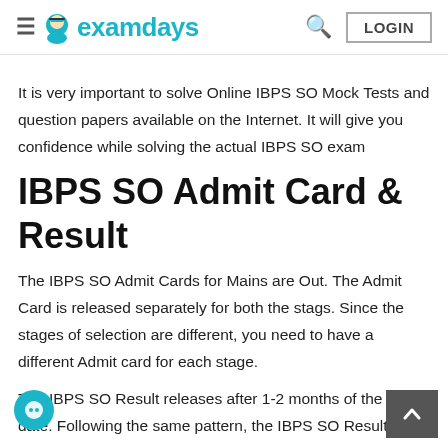examdays — LOGIN
It is very important to solve Online IBPS SO Mock Tests and question papers available on the Internet. It will give you confidence while solving the actual IBPS SO exam
IBPS SO Admit Card & Result
The IBPS SO Admit Cards for Mains are Out. The Admit Card is released separately for both the stags. Since the stages of selection are different, you need to have a different Admit card for each stage.
The IBPS SO Result releases after 1-2 months of the exam date. Following the same pattern, the IBPS SO Result 20__ will be announced after the IBPS SO exam takes place. IBPS